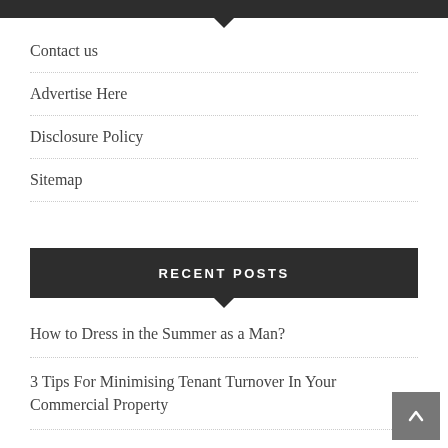Contact us
Advertise Here
Disclosure Policy
Sitemap
RECENT POSTS
How to Dress in the Summer as a Man?
3 Tips For Minimising Tenant Turnover In Your Commercial Property